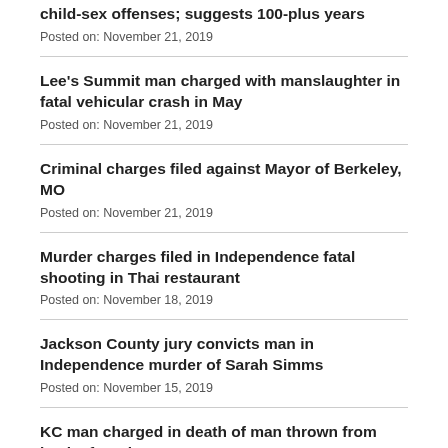child-sex offenses; suggests 100-plus years
Posted on: November 21, 2019
Lee's Summit man charged with manslaughter in fatal vehicular crash in May
Posted on: November 21, 2019
Criminal charges filed against Mayor of Berkeley, MO
Posted on: November 21, 2019
Murder charges filed in Independence fatal shooting in Thai restaurant
Posted on: November 18, 2019
Jackson County jury convicts man in Independence murder of Sarah Simms
Posted on: November 15, 2019
KC man charged in death of man thrown from back of truck on Interstate 435